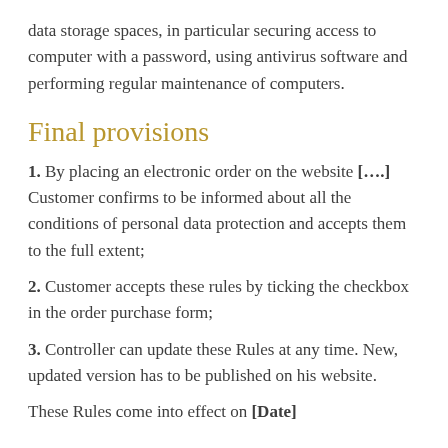data storage spaces, in particular securing access to computer with a password, using antivirus software and performing regular maintenance of computers.
Final provisions
1. By placing an electronic order on the website [....] Customer confirms to be informed about all the conditions of personal data protection and accepts them to the full extent;
2. Customer accepts these rules by ticking the checkbox in the order purchase form;
3. Controller can update these Rules at any time. New, updated version has to be published on his website.
These Rules come into effect on [Date]